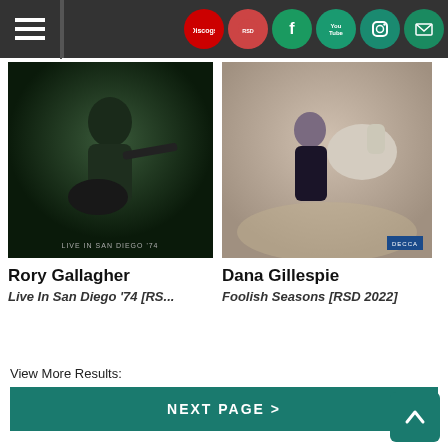Navigation bar with hamburger menu and social media icons: Discogs, RSD, Facebook, YouTube, Instagram, Mail
[Figure (photo): Album cover photo of Rory Gallagher playing guitar, dark background, text 'LIVE IN SAN DIEGO 74' at bottom]
[Figure (photo): Album cover photo of Dana Gillespie with a horse in a misty field, blue badge in bottom right corner]
Rory Gallagher
Live In San Diego '74 [RS...
Dana Gillespie
Foolish Seasons [RSD 2022]
View More Results:
NEXT PAGE >